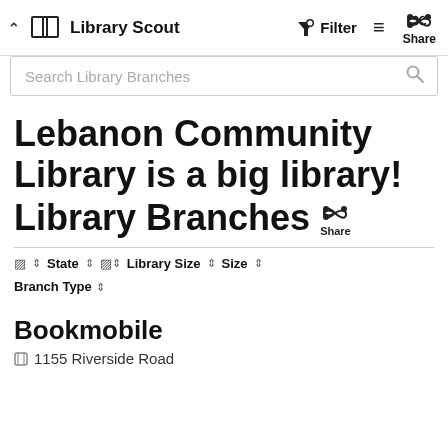Library Scout | Filter | Share
Search Library Branches
Lebanon Community Library is a big library! Library Branches Share
State | Library Size | Size | Branch Type (sort controls)
Bookmobile
1155 Riverside Road...